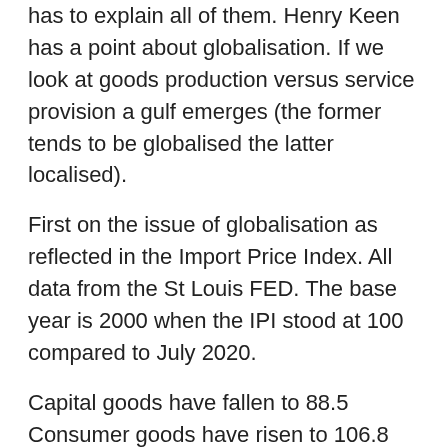has to explain all of them. Henry Keen has a point about globalisation. If we look at goods production versus service provision a gulf emerges (the former tends to be globalised the latter localised).
First on the issue of globalisation as reflected in the Import Price Index. All data from the St Louis FED. The base year is 2000 when the IPI stood at 100 compared to July 2020.
Capital goods have fallen to 88.5
Consumer goods have risen to 106.8
Durable consumer goods have fallen to 90.6
https://fred.stlouisfed.org/release/tables?rid=188&eid=146530
This is reflected in the CPI for goods in urban areas which has fallen to 83.4 Thus in the realm of goods production there has generally been deflation